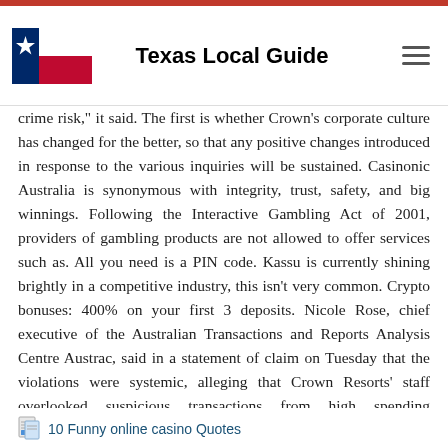Texas Local Guide
crime risk," it said. The first is whether Crown's corporate culture has changed for the better, so that any positive changes introduced in response to the various inquiries will be sustained. Casinonic Australia is synonymous with integrity, trust, safety, and big winnings. Following the Interactive Gambling Act of 2001, providers of gambling products are not allowed to offer services such as. All you need is a PIN code. Kassu is currently shining brightly in a competitive industry, this isn't very common. Crypto bonuses: 400% on your first 3 deposits. Nicole Rose, chief executive of the Australian Transactions and Reports Analysis Centre Austrac, said in a statement of claim on Tuesday that the violations were systemic, alleging that Crown Resorts' staff overlooked suspicious transactions from high spending consumers. All in all, Crown Melbourne is much more than just a casino, with something for everyone. Paysafecard can't be viewed as a standard eWallet.
10 Funny online casino Quotes